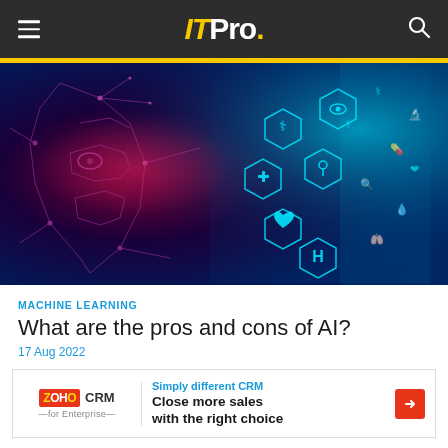ITPro.
[Figure (illustration): Digital AI face on dark background with medical hexagon icons and cyan network patterns on blue gradient background]
MACHINE LEARNING
What are the pros and cons of AI?
17 Aug 2022
[Figure (other): Zoho CRM advertisement banner: Simply different CRM - Close more sales with the right choice]